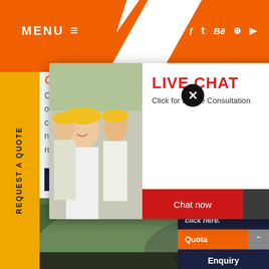MENU  ≡   f  t  Be  ⊕  ▶
Chinese construction chute of ...
Chinese Construction Chute The chute is a highly effective onomical gravity concentrator and is adapted to concentrate neral ores, for example iron, tin, gold, limonite, manganese rome, pyri...
[Figure (screenshot): Live Chat popup with construction workers in hard hats on left, LIVE CHAT title in red, 'Click for a Free Consultation' subtitle, Chat now (red) and Chat later (dark) buttons. A customer service representative photo on the right side. Close X button top right.]
[Figure (photo): Industrial machinery photo with mountains/green hills in background, large wheel/pulley equipment visible]
GET QUOTE
Have any requests, click here.
Quota
Enquiry
drobilkalm